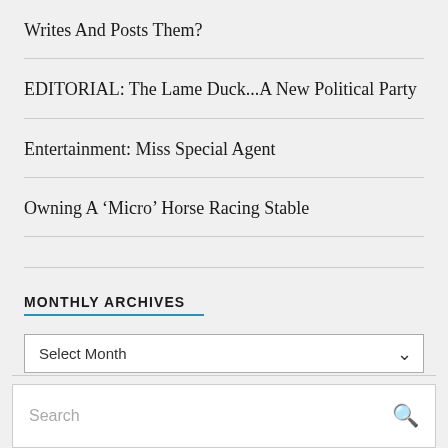Writes And Posts Them?
EDITORIAL: The Lame Duck...A New Political Party
Entertainment: Miss Special Agent
Owning A ‘Micro’ Horse Racing Stable
MONTHLY ARCHIVES
Select Month
Search